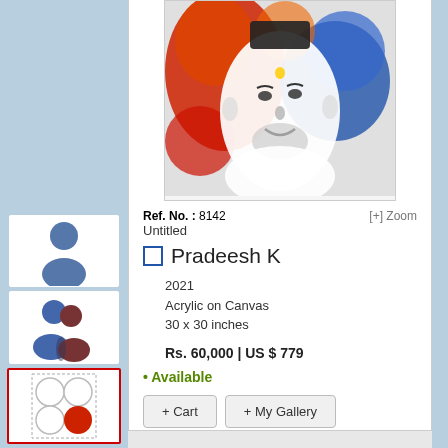[Figure (illustration): Painting of Sai Baba - a portrait with colorful abstract background, acrylic on canvas]
Ref. No. : 8142    [+] Zoom
Untitled
Pradeesh K
2021
Acrylic on Canvas
30 x 30 inches
Rs. 60,000 | US $ 779
• Available
+ Cart   + My Gallery